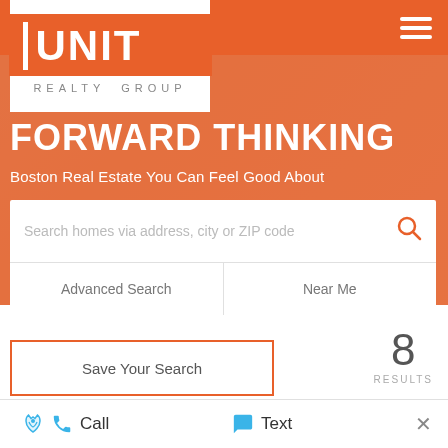[Figure (logo): Unit Realty Group logo — white box with orange background containing UNIT in bold white letters and a white vertical bar on the left, with REALTY GROUP in gray spaced letters below]
FORWARD THINKING
Boston Real Estate You Can Feel Good About
Search homes via address, city or ZIP code
Advanced Search
Near Me
Save Your Search
8
RESULTS
Call
Text